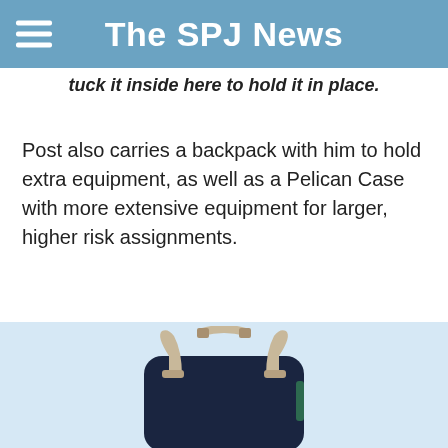The SPJ News
tuck it inside here to hold it in place.
Post also carries a backpack with him to hold extra equipment, as well as a Pelican Case with more extensive equipment for larger, higher risk assignments.
[Figure (photo): A dark navy backpack shown from the back, displaying tan/beige shoulder straps and a carry handle, against a light blue background.]